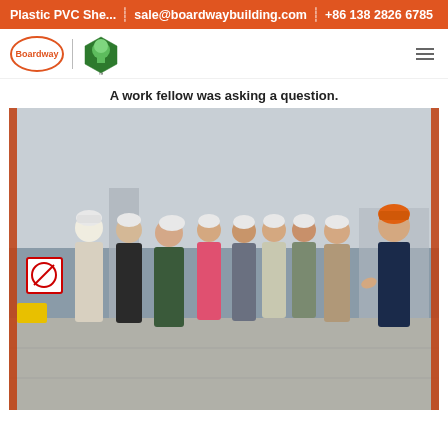Plastic PVC She...  sale@boardwaybuilding.com  +86 138 2826 6785
[Figure (logo): Boardway logo (orange circular text) and green tree cube logo with divider]
A work fellow was asking a question.
[Figure (photo): Group of people wearing white hard hats outdoors at an industrial site, with one person wearing an orange hard hat on the right appearing to explain something. Cloudy sky, harbor/construction area in background.]